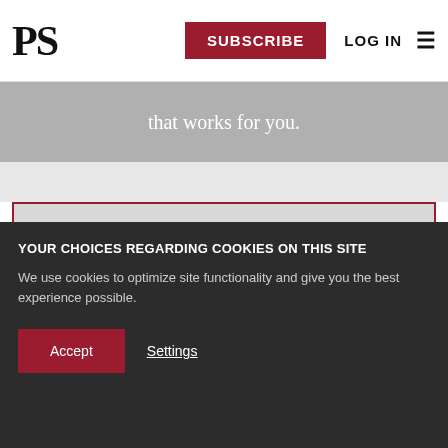PS | SUBSCRIBE | LOG IN
that works for you.
Premium
Everything you get in the previous level, plus:
Every new issue of the PS Quarterly magazine (print & digital), including our annual fourth-quarter magazine, PS Quarterly: The Year Ahead
YOUR CHOICES REGARDING COOKIES ON THIS SITE
We use cookies to optimize site functionality and give you the best experience possible.
Accept | Settings